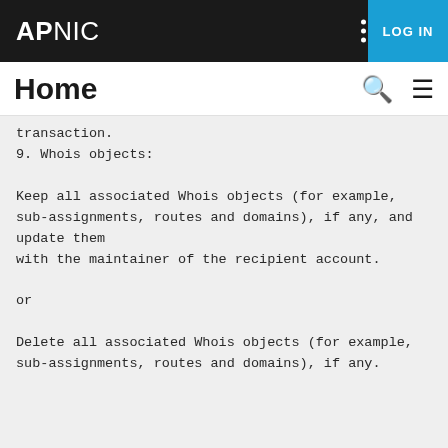APNIC | LOG IN
Home
transaction.
9. Whois objects:

Keep all associated Whois objects (for example, sub-assignments, routes and domains), if any, and update them
with the maintainer of the recipient account.

or

Delete all associated Whois objects (for example, sub-assignments, routes and domains), if any.